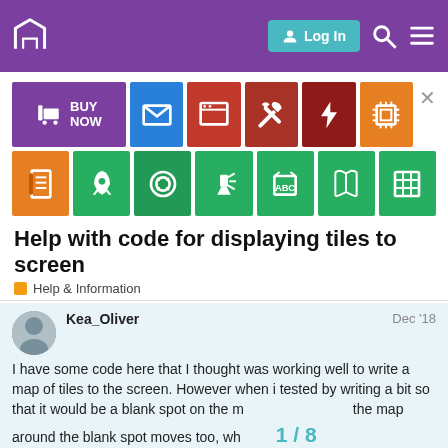Navigation bar with logo, Log In button, search and menu icons
[Figure (screenshot): App tiles grid showing BUY NOW (purple, wide), mail (blue), browser (red), tools (dark red), lightning (maroon), chip (orange) in first row; notebook (orange), rocket (green), lifesaver (dark green), flashlight (green), ABC cube (green), book (green), spreadsheet (green) in second row]
Help with code for displaying tiles to screen
Help & Information
Kea_Oliver
Dec '18
I have some code here that I thought was working well to write a map of tiles to the screen. However when i tested by writing a bit so that it would be a blank spot on the m  around i        the map around the blank spot moves too, wh                         fixed location on the map itself.
1 / 8